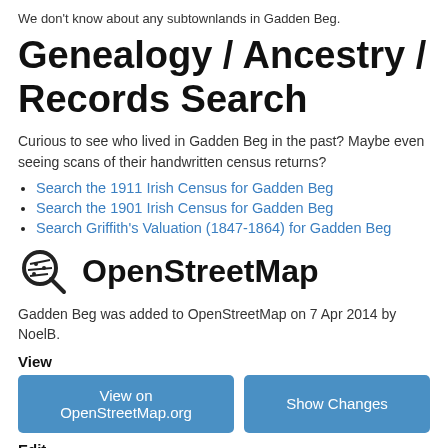We don't know about any subtownlands in Gadden Beg.
Genealogy / Ancestry / Records Search
Curious to see who lived in Gadden Beg in the past? Maybe even seeing scans of their handwritten census returns?
Search the 1911 Irish Census for Gadden Beg
Search the 1901 Irish Census for Gadden Beg
Search Griffith's Valuation (1847-1864) for Gadden Beg
OpenStreetMap
Gadden Beg was added to OpenStreetMap on 7 Apr 2014 by NoelB.
View
View on OpenStreetMap.org | Show Changes
Edit
JOSM | iD | Potlatch | Level0